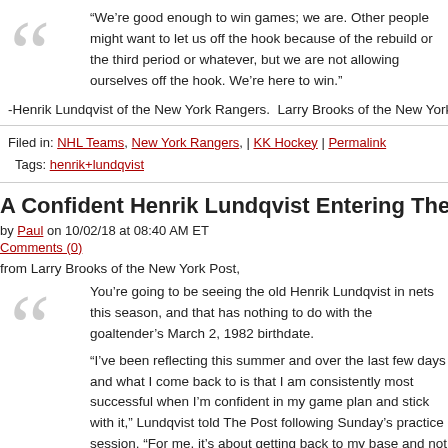“We’re good enough to win games; we are. Other people might want to let us off the hook because of the rebuild or the third period or whatever, but we are not allowing ourselves off the hook. We’re here to win.”
-Henrik Lundqvist of the New York Rangers.  Larry Brooks of the New York Post ha
Filed in: NHL Teams, New York Rangers, | KK Hockey | Permalink
Tags: henrik+lundqvist
A Confident Henrik Lundqvist Entering The Sea
by Paul on 10/02/18 at 08:40 AM ET
Comments (0)
from Larry Brooks of the New York Post,
You’re going to be seeing the old Henrik Lundqvist in nets this season, and that has nothing to do with the goaltender’s March 2, 1982 birthdate.
“I’ve been reflecting this summer and over the last few days and what I come back to is that I am consistently most successful when I’m confident in my game plan and stick with it,” Lundqvist told The Post following Sunday’s practice session. “For me, it’s about getting back to my base and not changing too much because of what’s going on in front of me.”